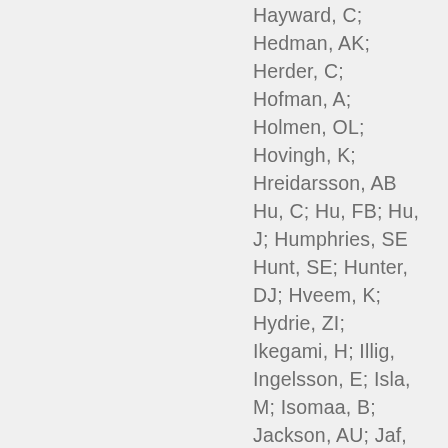Hayward, C; Hedman, AK; Herder, C; Hofman, A; Holmen, OL; Hovingh, K; Hreidarsson, AB; Hu, C; Hu, FB; Hu, J; Humphries, SE; Hunt, SE; Hunter, DJ; Hveem, K; Hydrie, ZI; Ikegami, H; Illig, T; Ingelsson, E; Islam, M; Isomaa, B; Jackson, AU; Jaffe, T; James, A; Jia, W; Jöckel, KH; Jonsson, A; Jowett, JB;